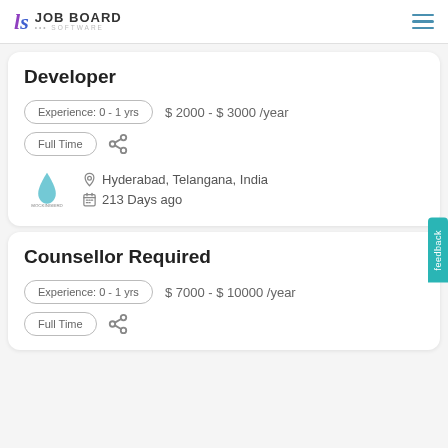LS JOB BOARD SOFTWARE
Developer
Experience: 0 - 1 yrs    $ 2000 - $ 3000 /year
Full Time
Hyderabad, Telangana, India
213 Days ago
Counsellor Required
Experience: 0 - 1 yrs    $ 7000 - $ 10000 /year
Full Time